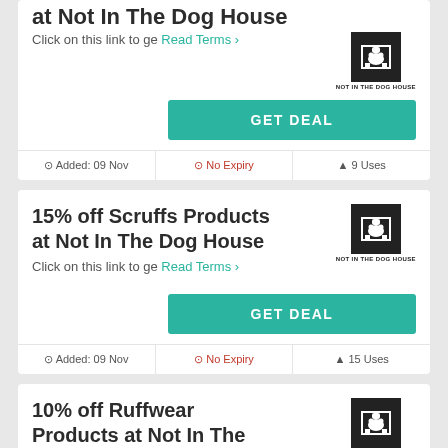at Not In The Dog House — Click on this link to ge Read Terms >
[Figure (logo): Not In The Dog House logo — black square with dog silhouette icon and text NOT IN THE DOG HOUSE]
GET DEAL
Added: 09 Nov | No Expiry | 9 Uses
15% off Scruffs Products at Not In The Dog House
Click on this link to ge Read Terms >
[Figure (logo): Not In The Dog House logo — black square with dog silhouette icon and text NOT IN THE DOG HOUSE]
GET DEAL
Added: 09 Nov | No Expiry | 15 Uses
10% off Ruffwear Products at Not In The Dog House
Click on this link to ge Read Terms >
[Figure (logo): Not In The Dog House logo — black square with dog silhouette icon and text NOT IN THE DOG HOUSE]